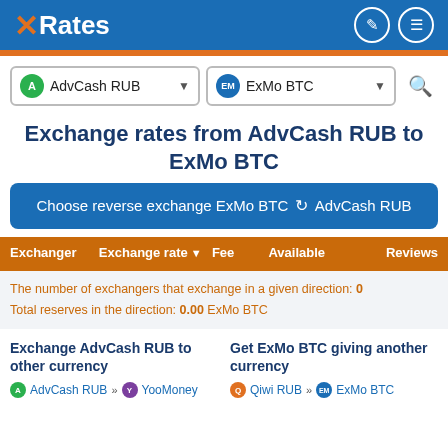XRates
AdvCash RUB → ExMo BTC
Exchange rates from AdvCash RUB to ExMo BTC
Choose reverse exchange ExMo BTC ⟳ AdvCash RUB
| Exchanger | Exchange rate ▼ | Fee | Available | Reviews |
| --- | --- | --- | --- | --- |
The number of exchangers that exchange in a given direction: 0
Total reserves in the direction: 0.00 ExMo BTC
Exchange AdvCash RUB to other currency
Get ExMo BTC giving another currency
AdvCash RUB » YooMoney
Qiwi RUB » ExMo BTC